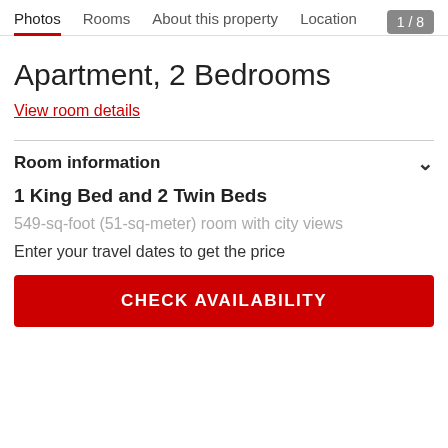Photos  Rooms  About this property  Location
1 / 8
Apartment, 2 Bedrooms
View room details
Room information
1 King Bed and 2 Twin Beds
549-sq-foot (51-sq-meter) room with city views
Enter your travel dates to get the price
CHECK AVAILABILITY